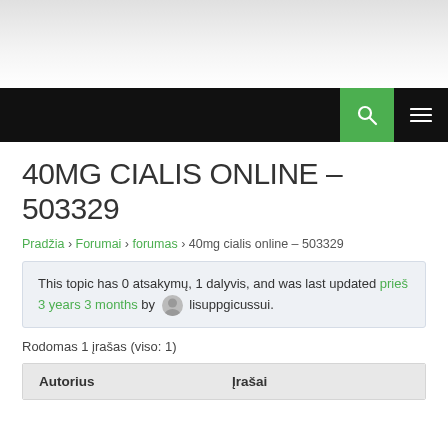40MG CIALIS ONLINE – 503329
Pradžia › Forumai › forumas › 40mg cialis online – 503329
This topic has 0 atsakymų, 1 dalyvis, and was last updated prieš 3 years 3 months by lisuppgicussui.
Rodomas 1 įrašas (viso: 1)
| Autorius | Įrašai |
| --- | --- |